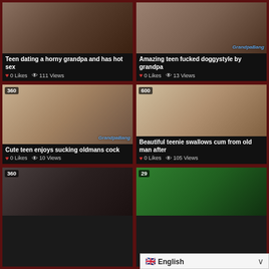[Figure (screenshot): Video thumbnail grid - card 1: Teen dating a horny grandpa and has hot sex, 0 Likes, 111 Views]
[Figure (screenshot): Video thumbnail grid - card 2: Amazing teen fucked doggystyle by grandpa, 0 Likes, 13 Views]
[Figure (screenshot): Video thumbnail grid - card 3 (360): Cute teen enjoys sucking oldmans cock, 0 Likes, 10 Views]
[Figure (screenshot): Video thumbnail grid - card 4 (600): Beautiful teenie swallows cum from old man after, 0 Likes, 105 Views]
[Figure (screenshot): Video thumbnail grid - card 5 (360): partial view]
[Figure (screenshot): Video thumbnail grid - card 6 (29): partial view]
English language selector with UK flag